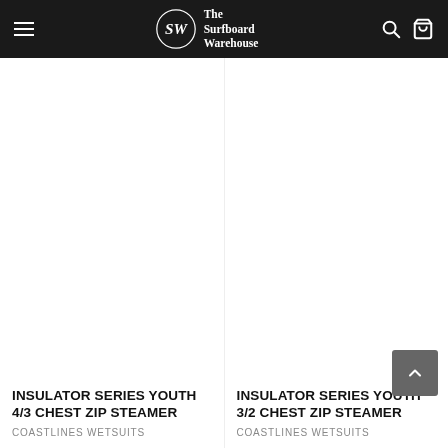The Surfboard Warehouse
[Figure (photo): Product image area for Insulator Series Youth 4/3 Chest Zip Steamer wetsuit]
INSULATOR SERIES YOUTH 4/3 CHEST ZIP STEAMER
COASTLINES WETSUITS
[Figure (photo): Product image area for Insulator Series Youth 3/2 Chest Zip Steamer wetsuit]
INSULATOR SERIES YOUTH 3/2 CHEST ZIP STEAMER
COASTLINES WETSUITS